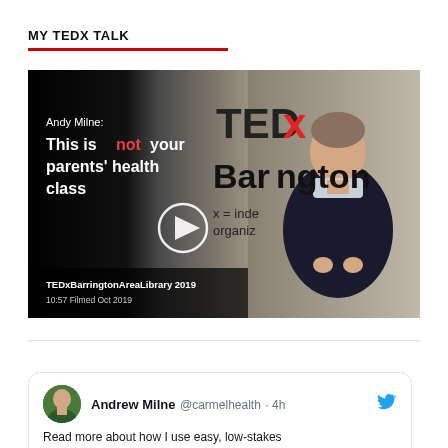MY TEDX TALK
[Figure (screenshot): TEDx talk thumbnail showing Andy Milne presenting at TEDxBarringtonAreaLibrary 2019. Left side black panel text: 'Andy Milne: This is not your parents' health class' with play button. Right side shows the speaker in front of TEDx Barrington sign. Duration 10:57, Filmed Oct 2019.]
Andrew Milne @carmelhealth · 4h
Read more about how I use easy, low-stakes